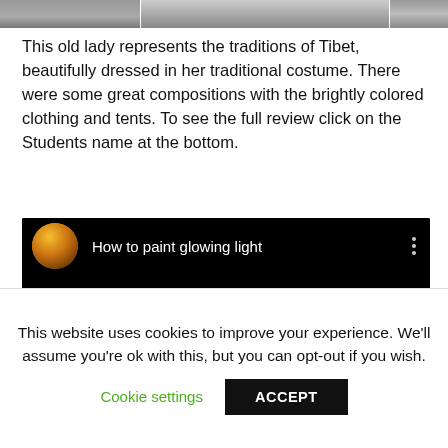[Figure (photo): Partial photo strip at top of page showing cropped images of people]
This old lady represents the traditions of Tibet, beautifully dressed in her traditional costume. There were some great compositions with the brightly colored clothing and tents. To see the full review click on the Students name at the bottom.
[Figure (screenshot): Embedded video thumbnail with black background showing title 'How to paint glowing light' with a circular avatar of a man holding paintbrushes and three-dot menu icon]
This website uses cookies to improve your experience. We'll assume you're ok with this, but you can opt-out if you wish.
Cookie settings   ACCEPT